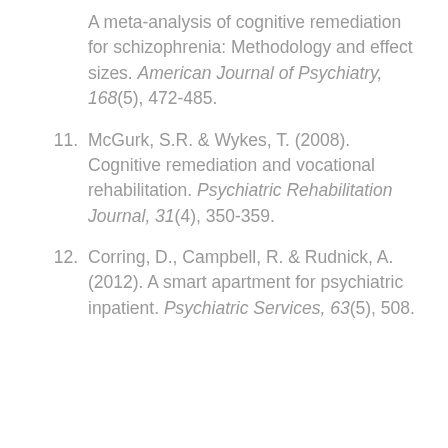A meta-analysis of cognitive remediation for schizophrenia: Methodology and effect sizes. American Journal of Psychiatry, 168(5), 472-485.
11. McGurk, S.R. & Wykes, T. (2008). Cognitive remediation and vocational rehabilitation. Psychiatric Rehabilitation Journal, 31(4), 350-359.
12. Corring, D., Campbell, R. & Rudnick, A. (2012). A smart apartment for psychiatric inpatient. Psychiatric Services, 63(5), 508.